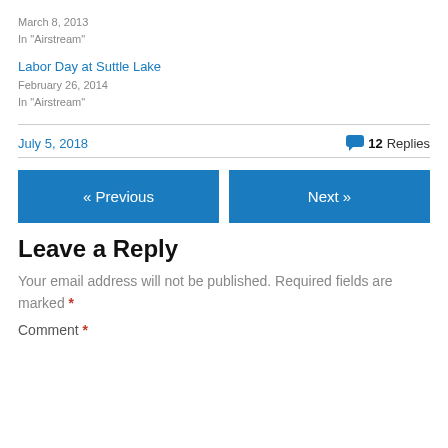March 8, 2013
In "Airstream"
Labor Day at Suttle Lake
February 26, 2014
In "Airstream"
July 5, 2018   💬 12 Replies
« Previous
Next »
Leave a Reply
Your email address will not be published. Required fields are marked *
Comment *